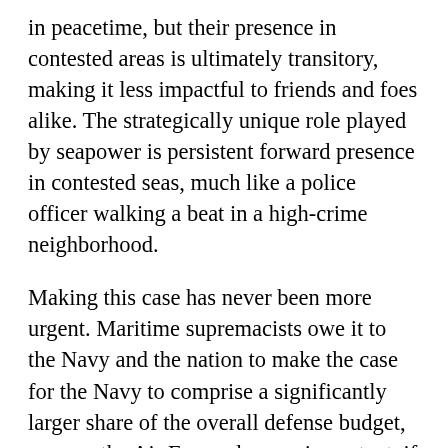in peacetime, but their presence in contested areas is ultimately transitory, making it less impactful to friends and foes alike. The strategically unique role played by seapower is persistent forward presence in contested seas, much like a police officer walking a beat in a high-crime neighborhood.
Making this case has never been more urgent. Maritime supremacists owe it to the Navy and the nation to make the case for the Navy to comprise a significantly larger share of the overall defense budget, even as the Air Force plays an important, if secondary, role.
Seapower advocates should turn the basis...